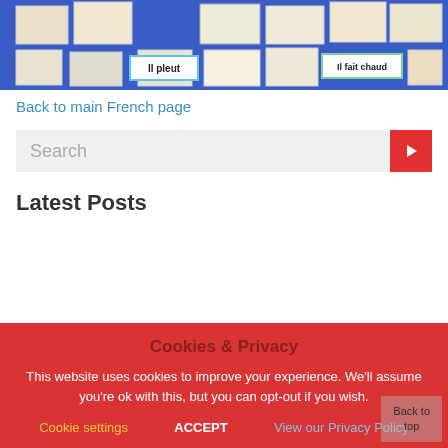[Figure (photo): Photo of a classroom bulletin board covered in blue fabric with children's drawings and French weather phrase labels such as 'Il pleut' and 'Il fait chaud']
Back to main French page
Search
Latest Posts
Cookies & Privacy
This website uses cookies to improve your experience. We'll assume you're ok with this, but you can opt-out if you wish.
Cookie settings  ACCEPT  View our Privacy Policy
Back to top